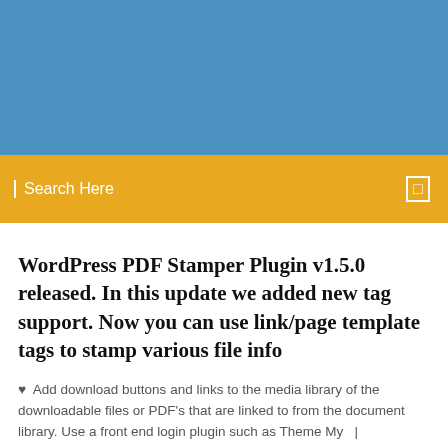[Figure (other): Blue header banner/image area at the top of the webpage]
Search Here
WordPress PDF Stamper Plugin v1.5.0 released. In this update we added new tag support. Now you can use link/page template tags to stamp various file info
Add download buttons and links to the media library of the downloadable files or PDF's that are linked to from the document library. Use a front end login plugin such as Theme My   |
1 Comments